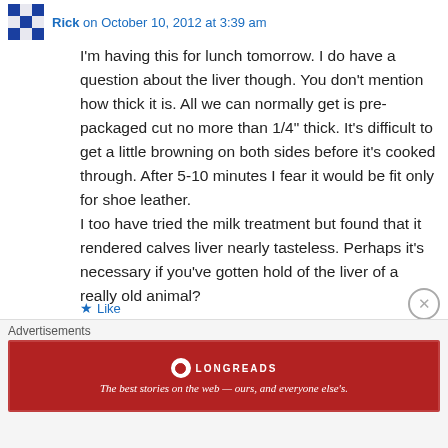Rick on October 10, 2012 at 3:39 am
I'm having this for lunch tomorrow. I do have a question about the liver though. You don't mention how thick it is. All we can normally get is pre-packaged cut no more than 1/4" thick. It's difficult to get a little browning on both sides before it's cooked through. After 5-10 minutes I fear it would be fit only for shoe leather.
I too have tried the milk treatment but found that it rendered calves liver nearly tasteless. Perhaps it's necessary if you've gotten hold of the liver of a really old animal?
[Figure (logo): Longreads advertisement banner: The best stories on the web — ours, and everyone else's.]